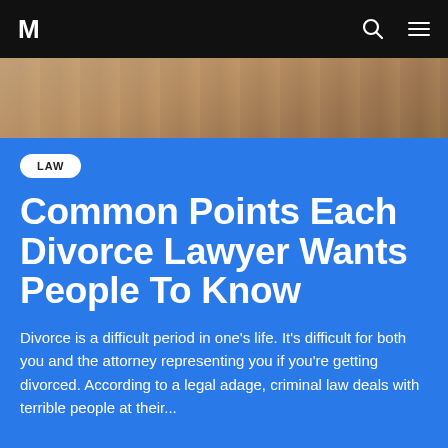M [logo] [search icon] [menu icon]
[Figure (photo): Close-up photo of a person's hands or wooden surface, warm brown tones]
LAW
Common Points Each Divorce Lawyer Wants People To Know
Divorce is a difficult period in one's life. It's difficult for both you and the attorney representing you if you're getting divorced. According to a legal adage, criminal law deals with terrible people at their...